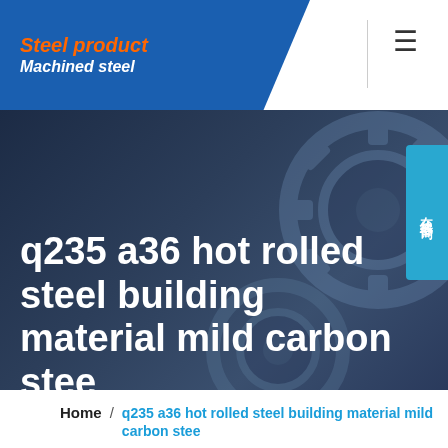Steel product / Machined steel
q235 a36 hot rolled steel building material mild carbon stee
[Figure (photo): Dark blue background with industrial machined steel gear/wheel components visible on the right side, serving as hero image backdrop]
在线咨询
Home / q235 a36 hot rolled steel building material mild carbon stee